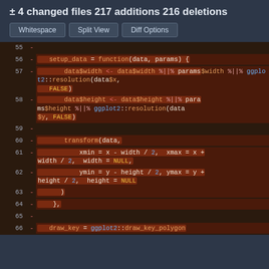± 4 changed files 217 additions 216 deletions
Whitespace   Split View   Diff Options
[Figure (screenshot): Code diff view showing deleted lines 55-66 of R code in a dark-themed diff viewer. Lines shown are from a ggplot2 stat function, including setup_data function definition, data$width and data$height assignments using %||% operator and ggplot2::resolution, transform calls with xmin/xmax/ymin/ymax calculations, closing braces, and draw_key = ggplot2::draw_key_polygon.]